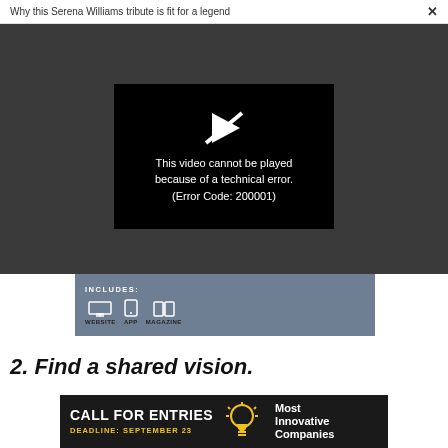Why this Serena Williams tribute is fit for a legend  ×
[Figure (screenshot): Video player showing error: 'This video cannot be played because of a technical error. (Error Code: 200001)' on black background with broken play button icon, overlaid on dark gray background]
[Figure (infographic): Subscription banner with 'INCLUDES:' label and icons for WEBSITE, APP, MAGAZINE on a slate blue background]
2. Find a shared vision.
[Figure (infographic): Advertisement: 'CALL FOR ENTRIES DEADLINE: SEPTEMBER 23' with lightbulb icon and 'Most Innovative Companies' on black background]